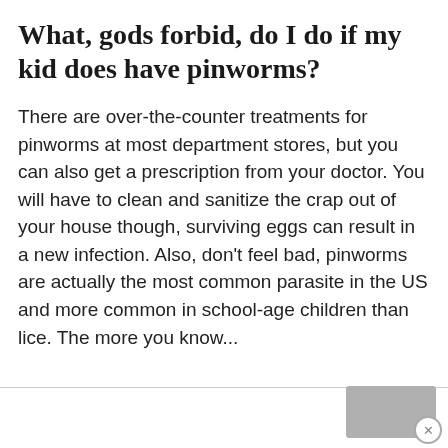What, gods forbid, do I do if my kid does have pinworms?
There are over-the-counter treatments for pinworms at most department stores, but you can also get a prescription from your doctor. You will have to clean and sanitize the crap out of your house though, surviving eggs can result in a new infection. Also, don't feel bad, pinworms are actually the most common parasite in the US and more common in school-age children than lice. The more you know...